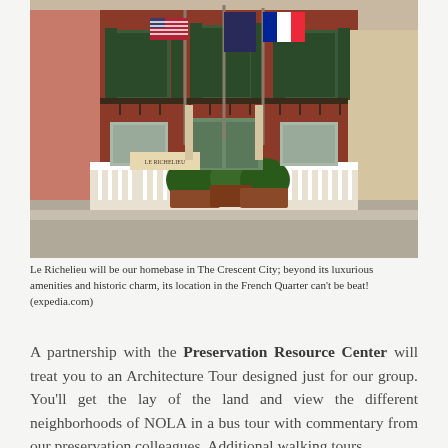[Figure (photo): Exterior photo of Le Richelieu hotel in New Orleans French Quarter, a red brick two-story building with white shuttered windows, wrought iron balconies, white picket fence, potted plants, and three flags including the American flag flying in front.]
Le Richelieu will be our homebase in The Crescent City; beyond its luxurious amenities and historic charm, its location in the French Quarter can't be beat! (expedia.com)
A partnership with the Preservation Resource Center will treat you to an Architecture Tour designed just for our group. You'll get the lay of the land and view the different neighborhoods of NOLA in a bus tour with commentary from our preservation colleagues. Additional walking tours